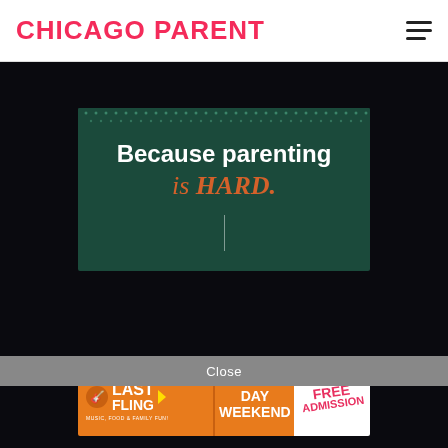CHICAGO PARENT
[Figure (screenshot): Dark overlay with a teal/green modal card showing text 'Because parenting is HARD.' with decorative dot border at top and a vertical divider line below the text.]
Close
[Figure (infographic): Naperville Jaycees Last Fling advertisement banner. Orange background on the left with 'LAST FLING' text and guitar icon, 'MUSIC, FOOD & FAMILY FUN!' subtitle. Center shows 'LABOR DAY WEEKEND'. White section on right shows 'FREE ADMISSION' in pink diagonal handwritten style.]